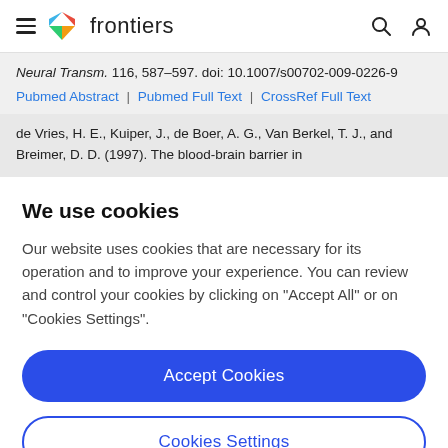frontiers
Neural Transm. 116, 587–597. doi: 10.1007/s00702-009-0226-9
Pubmed Abstract | Pubmed Full Text | CrossRef Full Text
de Vries, H. E., Kuiper, J., de Boer, A. G., Van Berkel, T. J., and Breimer, D. D. (1997). The blood-brain barrier in
We use cookies
Our website uses cookies that are necessary for its operation and to improve your experience. You can review and control your cookies by clicking on "Accept All" or on "Cookies Settings".
Accept Cookies
Cookies Settings